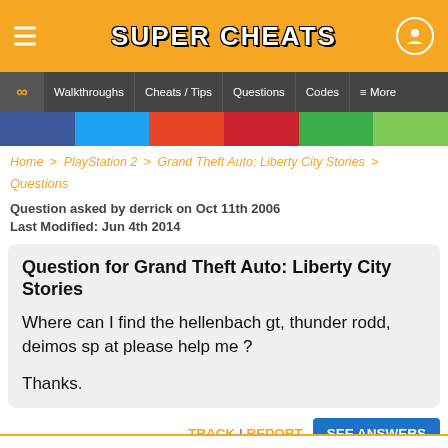Super Cheats
Walkthroughs | Cheats / Tips | Questions | Codes | More
Home > PlayStation 2 > Grand Theft Auto: Liberty City Stories > Questions
Question asked by derrick on Oct 11th 2006
Last Modified: Jun 4th 2014
Question for Grand Theft Auto: Liberty City Stories
Where can I find the hellenbach gt, thunder rodd, deimos sp at please help me ?

Thanks.
TRACK | REPORT   SEE ANSWERS